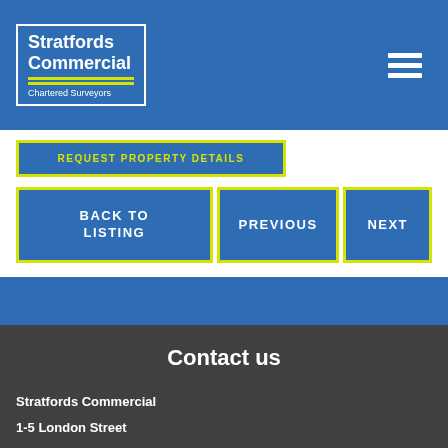[Figure (logo): Stratfords Commercial Chartered Surveyors logo in white text on blue background with yellow underlines, inside a white border box]
REQUEST PROPERTY DETAILS
BACK TO LISTING
PREVIOUS
NEXT
Contact us
Stratfords Commercial
1-5 London Street